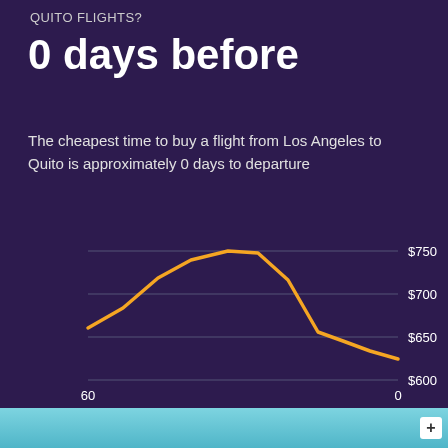QUITO FLIGHTS?
0 days before
The cheapest time to buy a flight from Los Angeles to Quito is approximately 0 days to departure
[Figure (line-chart): Days before departure]
[Figure (map): Map strip at bottom of page showing geographic area around Los Angeles to Quito route]